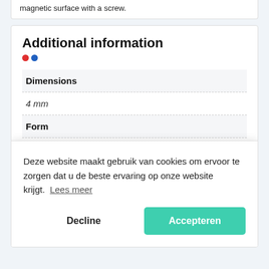magnetic surface with a screw.
Additional information
| Field | Value |
| --- | --- |
| Dimensions |  |
|  | 4 mm |
| Form |  |
|  |  |
Deze website maakt gebruik van cookies om ervoor te zorgen dat u de beste ervaring op onze website krijgt. Lees meer
Decline
Accepteren